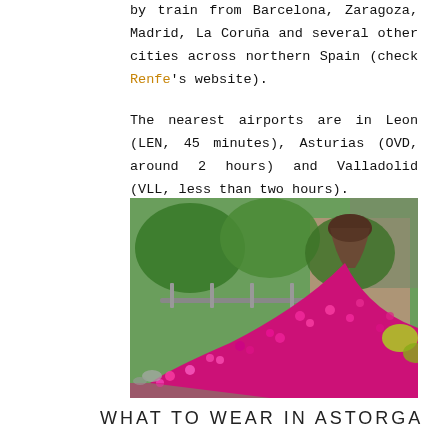by train from Barcelona, Zaragoza, Madrid, La Coruña and several other cities across northern Spain (check Renfe's website).
The nearest airports are in Leon (LEN, 45 minutes), Asturias (OVD, around 2 hours) and Valladolid (VLL, less than two hours).
[Figure (photo): A floral art installation showing pink/magenta flowers spilling out of a tilted large pot/barrel, set in a green garden with trees and buildings in the background.]
WHAT TO WEAR IN ASTORGA